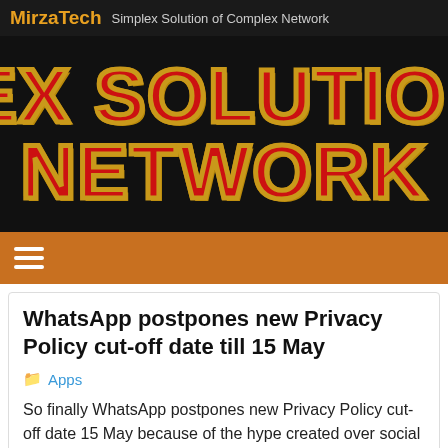MirzaTech Simplex Solution of Complex Network
[Figure (illustration): Dark banner with large bold red text outlined in yellow reading 'PLEX SOLUTION C' on first line and 'NETWORK' on second line, on a black background]
WhatsApp postpones new Privacy Policy cut-off date till 15 May
Apps
So finally WhatsApp postpones new Privacy Policy cut-off date 15 May because of the hype created over social media platform's regarding Data Sharing of your personal data on Facebook.
As well as the risk factor of loosing your WhatsApp Account